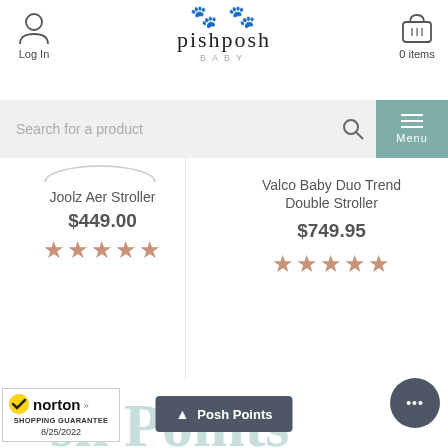PishPosh Baby — Log In | 0 items
Search for a product
Menu
Joolz Aer Stroller $449.00 ★★★★★
Valco Baby Duo Trend Double Stroller $749.95 ★★★★★
[Figure (screenshot): Norton Shopping Guarantee badge, 8/25/2022]
Posh Points
... (chat bubble)